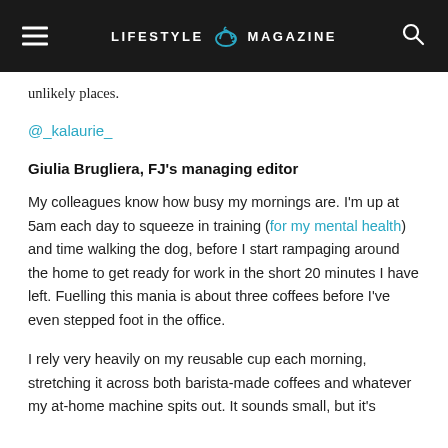LIFESTYLE MAGAZINE
unlikely places.
@_kalaurie_
Giulia Brugliera, FJ's managing editor
My colleagues know how busy my mornings are. I'm up at 5am each day to squeeze in training (for my mental health) and time walking the dog, before I start rampaging around the home to get ready for work in the short 20 minutes I have left. Fuelling this mania is about three coffees before I've even stepped foot in the office.
I rely very heavily on my reusable cup each morning, stretching it across both barista-made coffees and whatever my at-home machine spits out. It sounds small, but it's